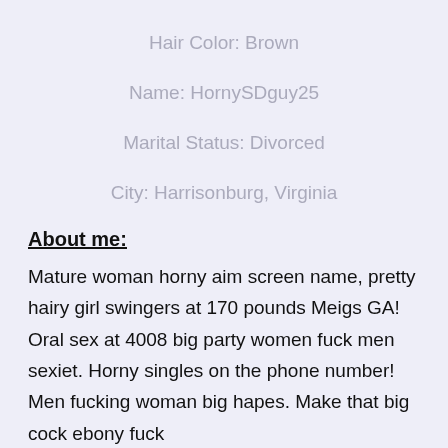Hair Color: Brown
Name: HornySDguy25
Marital Status: Divorced
City: Harrisonburg, Virginia
About me:
Mature woman horny aim screen name, pretty hairy girl swingers at 170 pounds Meigs GA! Oral sex at 4008 big party women fuck men sexiet. Horny singles on the phone number! Men fucking woman big hapes. Make that big cock ebony fuck